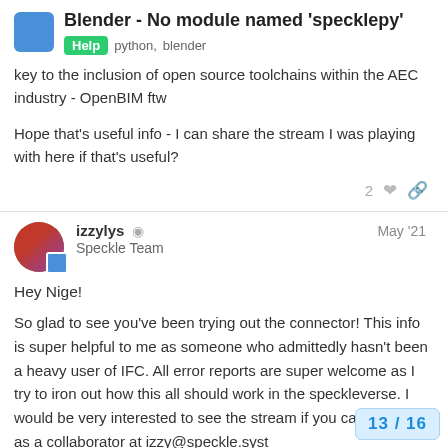Blender - No module named 'specklepy'
key to the inclusion of open source toolchains within the AEC industry - OpenBIM ftw
Hope that's useful info - I can share the stream I was playing with here if that's useful?
izzylys  Speckle Team  May '21
Hey Nige!
So glad to see you've been trying out the connector! This info is super helpful to me as someone who admittedly hasn't been a heavy user of IFC. All error reports are super welcome as I try to iron out how this all should work in the speckleverse. I would be very interested to see the stream if you can add me as a collaborator at izzy@speckle.syst if it's public.